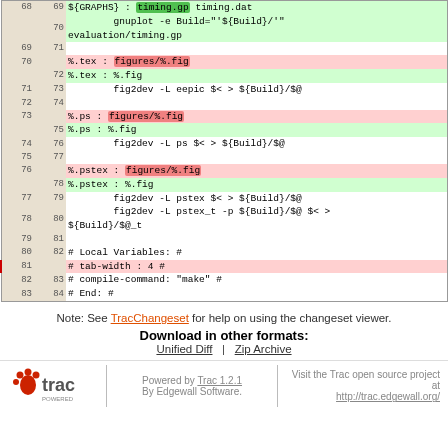| old | new | code |
| --- | --- | --- |
| 68 | 69 | ${GRAPHS} : timing.gp timing.dat |
|  | 70 |         gnuplot -e Build="'${Build}/'" evaluation/timing.gp |
| 69 | 71 |  |
| 70 |  | %.tex : figures/%.fig |
|  | 72 | %.tex : %.fig |
| 71 | 73 |         fig2dev -L eepic $< > ${Build}/$@ |
| 72 | 74 |  |
| 73 |  | %.ps : figures/%.fig |
|  | 75 | %.ps : %.fig |
| 74 | 76 |         fig2dev -L ps $< > ${Build}/$@ |
| 75 | 77 |  |
| 76 |  | %.pstex : figures/%.fig |
|  | 78 | %.pstex : %.fig |
| 77 | 79 |         fig2dev -L pstex $< > ${Build}/$@ |
| 78 | 80 |         fig2dev -L pstex_t -p ${Build}/$@ $< > ${Build}/$@_t |
| 79 | 81 |  |
| 80 | 82 | # Local Variables: # |
| 81 |  | # tab-width : 4 # |
| 82 | 83 | # compile-command: "make" # |
| 83 | 84 | # End: # |
Note: See TracChangeset for help on using the changeset viewer.
Download in other formats:
Unified Diff | Zip Archive
Powered by Trac 1.2.1 By Edgewall Software. Visit the Trac open source project at http://trac.edgewall.org/